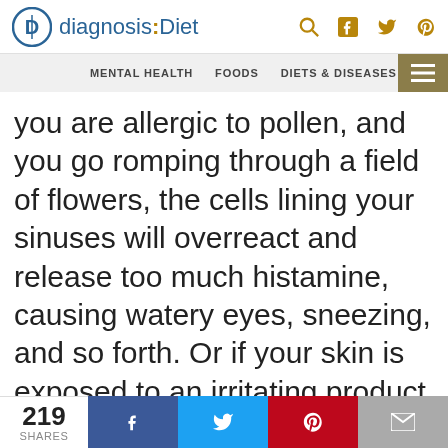diagnosis:Diet — MENTAL HEALTH | FOODS | DIETS & DISEASES
you are allergic to pollen, and you go romping through a field of flowers, the cells lining your sinuses will overreact and release too much histamine, causing watery eyes, sneezing, and so forth. Or if your skin is exposed to an irritating product you may develop hives. Many people with allergies take an antihistamine medication to block the
219 SHARES